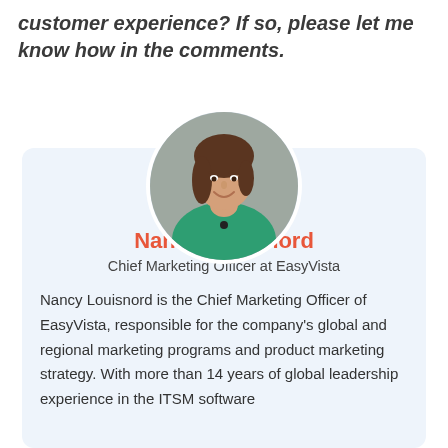customer experience? If so, please let me know how in the comments.
[Figure (photo): Circular profile photo of Nancy Louisnord, a woman with brown hair wearing a green top, smiling.]
Nancy Louisnord
Chief Marketing Officer at EasyVista
Nancy Louisnord is the Chief Marketing Officer of EasyVista, responsible for the company's global and regional marketing programs and product marketing strategy. With more than 14 years of global leadership experience in the ITSM software